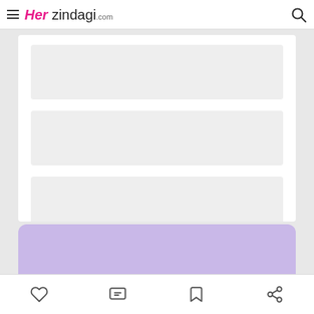Her zindagi.com
[Figure (screenshot): Loading skeleton screen with four grey placeholder blocks on white card background, and a lavender/purple section below]
Bottom navigation bar with heart, comment, bookmark, and share icons